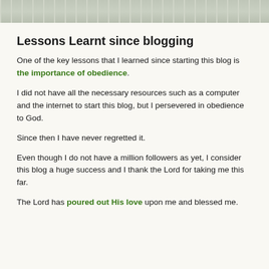[Figure (photo): Partial view of a photo showing items on a wooden surface, possibly a glass and green plants/grapes]
Lessons Learnt since blogging
One of the key lessons that I learned since starting this blog is the importance of obedience.
I did not have all the necessary resources such as a computer and the internet to start this blog, but I persevered in obedience to God.
Since then I have never regretted it.
Even though I do not have a million followers as yet, I consider this blog a huge success and I thank the Lord for taking me this far.
The Lord has poured out His love upon me and blessed me.